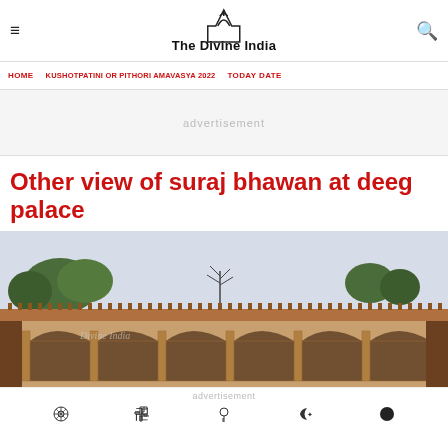The Divine India
HOME | KUSHOTPATINI OR PITHORI AMAVASYA 2022 | TODAY DATE
advertisement
Other view of suraj bhawan at deeg palace
[Figure (photo): Photograph of Suraj Bhawan at Deeg Palace showing arched colonnades with decorative sandstone cornice, trees in the background and a pale sky. Watermark reads 'Divine India'.]
advertisement